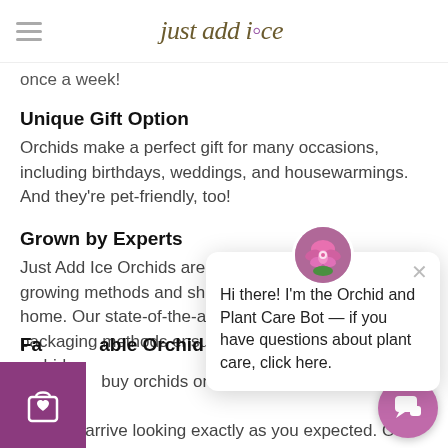just add ice
once a week!
Unique Gift Option
Orchids make a perfect gift for many occasions, including birthdays, weddings, and housewarmings. And they're pet-friendly, too!
Grown by Experts
Just Add Ice Orchids are grown using the best growing methods and shipped straight to your home. Our state-of-the-art packaging methods ensure your orchid.
[Figure (screenshot): Chat popup from Orchid and Plant Care Bot with orchid avatar image and close button. Text reads: Hi there! I'm the Orchid and Plant Care Bot — if you have questions about plant care, click here.]
Fa[st] Reliable Orchid Delivery
When you buy orchids online, you want to be confident they will arrive looking exactly as you expected. Our